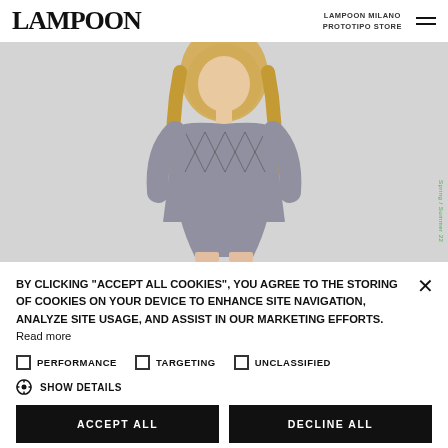LAMPOON | LAMPOON MILANO PROTOTIPO STORE
[Figure (photo): Fashion photo of a woman with long blonde hair wearing a patterned jacket and shorts set, with vertical green text reading 'Spring / Summer 22' on the right side]
BY CLICKING "ACCEPT ALL COOKIES", YOU AGREE TO THE STORING OF COOKIES ON YOUR DEVICE TO ENHANCE SITE NAVIGATION, ANALYZE SITE USAGE, AND ASSIST IN OUR MARKETING EFFORTS. Read more
PERFORMANCE   TARGETING   UNCLASSIFIED
SHOW DETAILS
ACCEPT ALL   DECLINE ALL